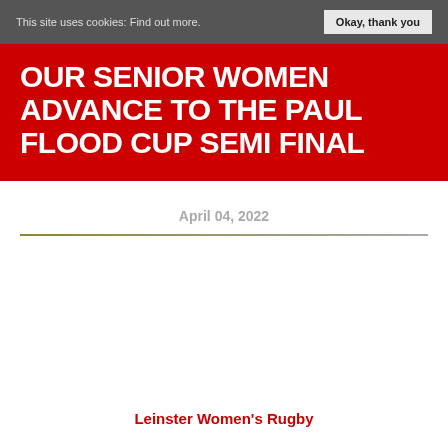This site uses cookies: Find out more.   Okay, thank you
OUR SENIOR WOMEN ADVANCE TO THE PAUL FLOOD CUP SEMI FINAL
April 04, 2022
Leinster Women's Rugby